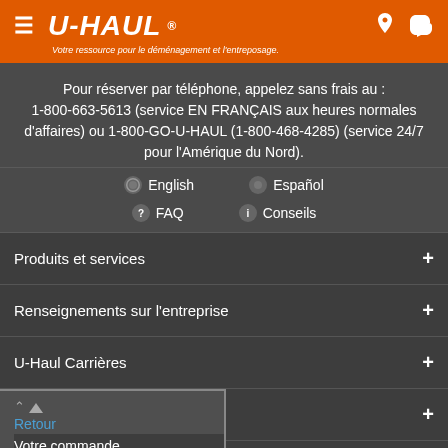U-HAUL — Votre ressource pour le déménagement et l'entreposage.
Pour réserver par téléphone, appelez sans frais au : 1-800-663-5613 (service EN FRANÇAIS aux heures normales d'affaires) ou 1-800-GO-U-HAUL (1-800-468-4285) (service 24/7 pour l'Amérique du Nord).
English
Español
FAQ
Conseils
Produits et services
Renseignements sur l'entreprise
U-Haul Carrières
Collaborez avec nous
Votre commande
Retour